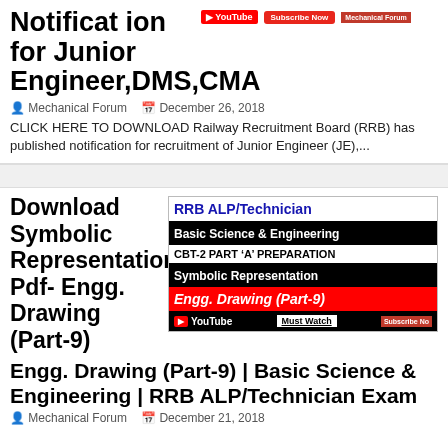Notification for Junior Engineer,DMS,CMA
Mechanical Forum  December 26, 2018
CLICK HERE TO DOWNLOAD Railway Recruitment Board (RRB) has published notification for recruitment of Junior Engineer (JE),...
Download Symbolic Representation Pdf- Engg. Drawing (Part-9) | Basic Science & Engineering | RRB ALP/Technician Exam
[Figure (screenshot): YouTube video thumbnail for RRB ALP/Technician Basic Science & Engineering CBT-2 Part A Preparation - Symbolic Representation Engg. Drawing Part-9]
Mechanical Forum  December 21, 2018